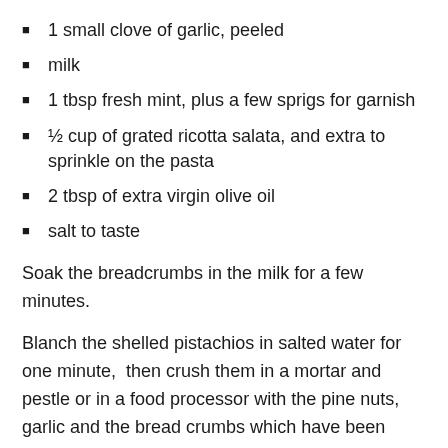1 small clove of garlic, peeled
milk
1 tbsp fresh mint, plus a few sprigs for garnish
½ cup of grated ricotta salata, and extra to sprinkle on the pasta
2 tbsp of extra virgin olive oil
salt to taste
Soak the breadcrumbs in the milk for a few minutes.
Blanch the shelled pistachios in salted water for one minute,  then crush them in a mortar and pestle or in a food processor with the pine nuts, garlic and the bread crumbs which have been soaked and strained. Set the milk aside to add to the sauce as needed.
Add the mint leaves and when everything has become a